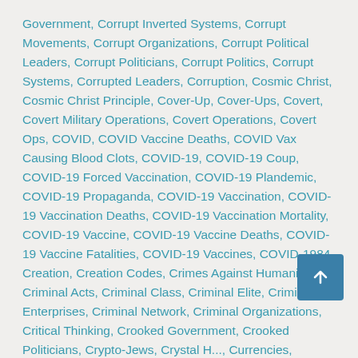Government, Corrupt Inverted Systems, Corrupt Movements, Corrupt Organizations, Corrupt Political Leaders, Corrupt Politicians, Corrupt Politics, Corrupt Systems, Corrupted Leaders, Corruption, Cosmic Christ, Cosmic Christ Principle, Cover-Up, Cover-Ups, Covert, Covert Military Operations, Covert Operations, Covert Ops, COVID, COVID Vaccine Deaths, COVID Vax Causing Blood Clots, COVID-19, COVID-19 Coup, COVID-19 Forced Vaccination, COVID-19 Plandemic, COVID-19 Propaganda, COVID-19 Vaccination, COVID-19 Vaccination Deaths, COVID-19 Vaccination Mortality, COVID-19 Vaccine, COVID-19 Vaccine Deaths, COVID-19 Vaccine Fatalities, COVID-19 Vaccines, COVID-1984, Creation, Creation Codes, Crimes Against Humanity, Criminal Acts, Criminal Class, Criminal Elite, Criminal Enterprises, Criminal Network, Criminal Organizations, Critical Thinking, Crooked Government, Crooked Politicians, Crypto-Jews, Crystal H..., Currencies, Currency, Cyborg, Cyborg Agenda, Cyborgs, Dangerous Technology, Dark Agenda, Dark Agendas, Dark Archangels, Dark Cabal, Dark Entity, Dark Force Manipulation